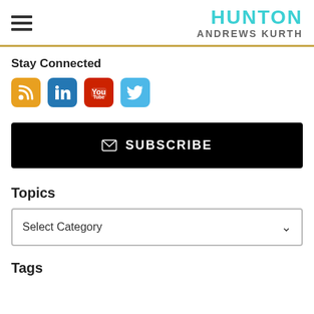[Figure (logo): Hunton Andrews Kurth logo with hamburger menu icon on the left and cyan/grey text logo on the right]
Stay Connected
[Figure (infographic): Four social media icons: RSS (orange), LinkedIn (blue), YouTube (red), Twitter (light blue)]
SUBSCRIBE
Topics
Select Category
Tags